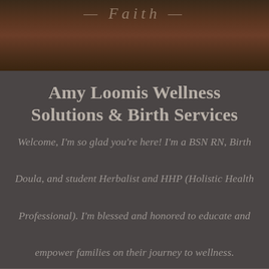[Figure (photo): Hero banner image showing a natural outdoor scene with dark reddish-brown foliage/ground cover, with a partially visible italic text overlay]
Amy Loomis Wellness Solutions & Birth Services
Welcome, I'm so glad you're here! I'm a BSN RN, Birth Doula, and student Herbalist and HHP (Holistic Health Professional). I'm blessed and honored to educate and empower families on their journey to wellness.
≡ MENU